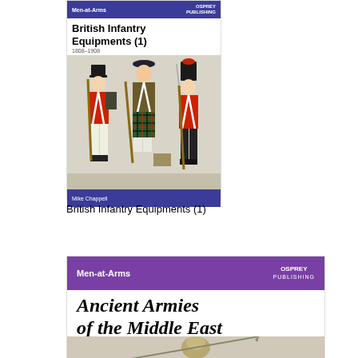[Figure (illustration): Book cover: 'British Infantry Equipments (1) 1808-1908' Men-at-Arms series, Osprey Publishing. Shows three British infantry soldiers in period uniforms. Blue header and footer bands with purple/blue branding.]
British Infantry Equipments (1)
[Figure (illustration): Partial book cover: 'Ancient Armies of the Middle East' Men-at-Arms series, Osprey Publishing. Purple header band. Shows beginning of cover illustration with a soldier figure at the bottom.]